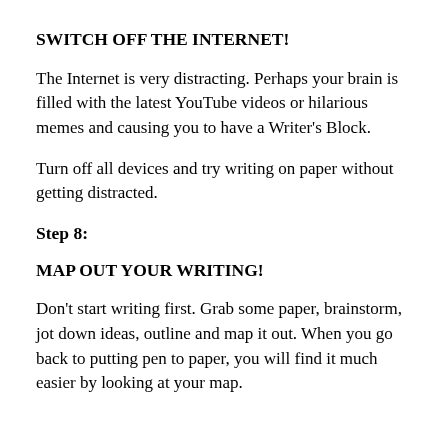SWITCH OFF THE INTERNET!
The Internet is very distracting. Perhaps your brain is filled with the latest YouTube videos or hilarious memes and causing you to have a Writer's Block.
Turn off all devices and try writing on paper without getting distracted.
Step 8:
MAP OUT YOUR WRITING!
Don't start writing first. Grab some paper, brainstorm, jot down ideas, outline and map it out. When you go back to putting pen to paper, you will find it much easier by looking at your map.